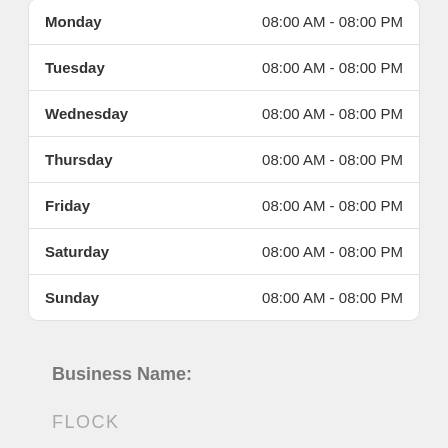| Day | Hours |
| --- | --- |
| Monday | 08:00 AM - 08:00 PM |
| Tuesday | 08:00 AM - 08:00 PM |
| Wednesday | 08:00 AM - 08:00 PM |
| Thursday | 08:00 AM - 08:00 PM |
| Friday | 08:00 AM - 08:00 PM |
| Saturday | 08:00 AM - 08:00 PM |
| Sunday | 08:00 AM - 08:00 PM |
Business Name:
FLOCK